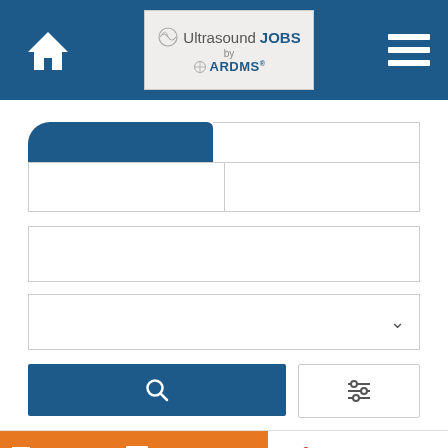[Figure (screenshot): Website header with home icon, UltrasoundJOBS by ARDMS logo, and hamburger menu on dark blue background]
[Figure (screenshot): Job search interface with tabbed search form, keyword input, location input, category dropdown, search button, and filter button]
[Figure (screenshot): Dignity Health advertisement banner: orange section with 'Change jobs. Change lives. Choose a career that gives back.' and white section with Dignity Health logo]